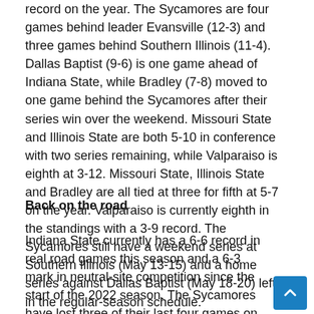record on the year. The Sycamores are four games behind leader Evansville (12-3) and three games behind Southern Illinois (11-4). Dallas Baptist (9-6) is one game ahead of Indiana State, while Bradley (7-8) moved to one game behind the Sycamores after their series win over the weekend. Missouri State and Illinois State are both 5-10 in conference with two series remaining, while Valparaiso is eighth at 3-12. Missouri State, Illinois State and Bradley are all tied at three for fifth at 5-7 on the year. Valparaiso is currently eighth in the standings with a 3-9 record. The Sycamores still have a weekend series at Southern Illinois (May 13-15) and a home series against Dallas Baptist (May 18-20) left in the regular-season schedule.
Back on the road
Indiana State currently has a 6-6 record in real road games this season and a 6-3 mark in neutral-site competition since the start of the 2022 season. The Sycamores have lost three of their last four games on the road after trips to Illinois and Bradley. ISU's only win in the streak came in Saturday's opener